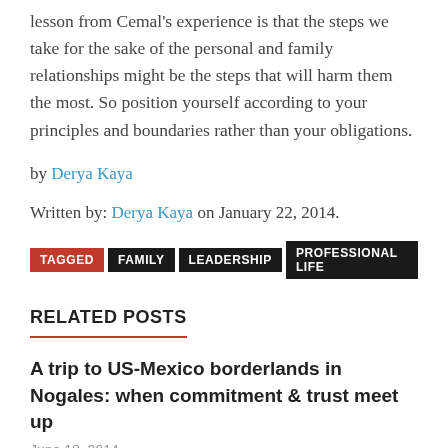lesson from Cemal’s experience is that the steps we take for the sake of the personal and family relationships might be the steps that will harm them the most. So position yourself according to your principles and boundaries rather than your obligations.
by Derya Kaya
Written by: Derya Kaya on January 22, 2014.
TAGGED FAMILY LEADERSHIP PROFESSIONAL LIFE
RELATED POSTS
A trip to US-Mexico borderlands in Nogales: when commitment & trust meet up
June 18, 2014